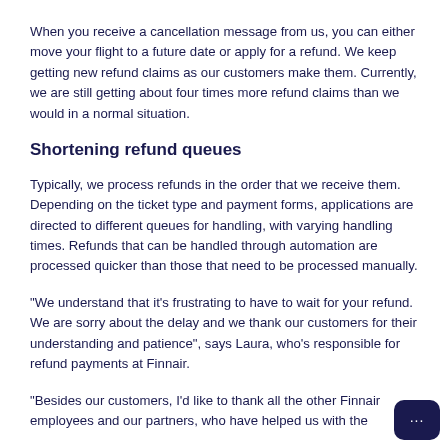When you receive a cancellation message from us, you can either move your flight to a future date or apply for a refund. We keep getting new refund claims as our customers make them. Currently, we are still getting about four times more refund claims than we would in a normal situation.
Shortening refund queues
Typically, we process refunds in the order that we receive them. Depending on the ticket type and payment forms, applications are directed to different queues for handling, with varying handling times. Refunds that can be handled through automation are processed quicker than those that need to be processed manually.
"We understand that it's frustrating to have to wait for your refund. We are sorry about the delay and we thank our customers for their understanding and patience", says Laura, who's responsible for refund payments at Finnair.
"Besides our customers, I'd like to thank all the other Finnair employees and our partners, who have helped us with the processing of refund claims. Everyone is doing the outside of the...